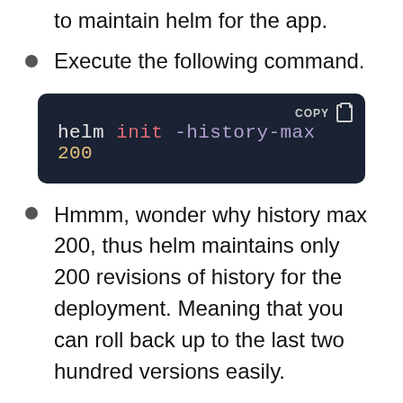to maintain helm for the app.
Execute the following command.
[Figure (screenshot): Dark code block showing: helm init -history-max 200, with a COPY button in top right]
Hmmm, wonder why history max 200, thus helm maintains only 200 revisions of history for the deployment. Meaning that you can roll back up to the last two hundred versions easily.
This will install Tiller to your running